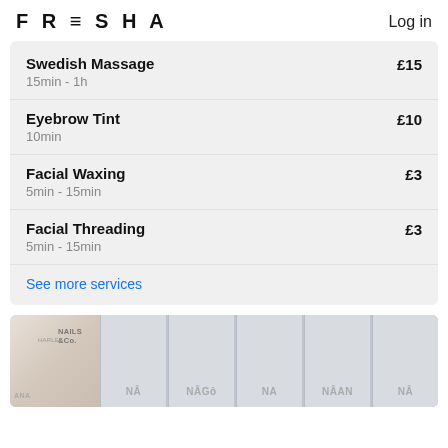FRESHA  Log in
Swedish Massage  £15  15min - 1h
Eyebrow Tint  £10  10min
Facial Waxing  £3  5min - 15min
Facial Threading  £3  5min - 15min
See more services
[Figure (photo): Interior of a nail salon called Nails & Co, showing white panelled walls with frosted glass partitions and a floral arrangement.]